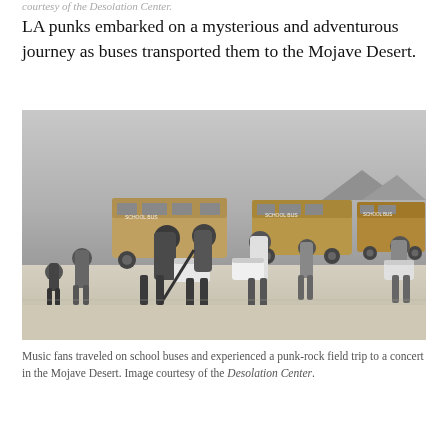courtesy of the Desolation Center.
LA punks embarked on a mysterious and adventurous journey as buses transported them to the Mojave Desert.
[Figure (photo): Black and white photograph of people walking away from school buses parked in a desert landscape (Mojave Desert). People in the foreground are carrying coolers and supplies. Several school buses are visible in the background.]
Music fans traveled on school buses and experienced a punk-rock field trip to a concert in the Mojave Desert. Image courtesy of the Desolation Center.